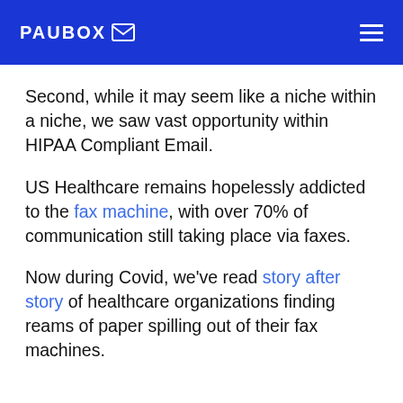PAUBOX
Second, while it may seem like a niche within a niche, we saw vast opportunity within HIPAA Compliant Email.
US Healthcare remains hopelessly addicted to the fax machine, with over 70% of communication still taking place via faxes.
Now during Covid, we've read story after story of healthcare organizations finding reams of paper spilling out of their fax machines.